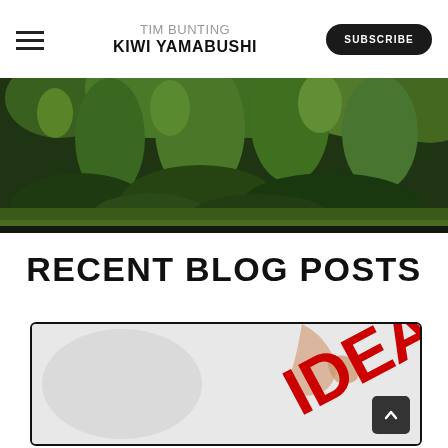TIM BUNTING KIWI YAMABUSHI | SUBSCRIBE
[Figure (photo): Lush green forest/garden scene with mossy trees and large-leaved plants, dark background]
RECENT BLOG POSTS
[Figure (photo): Blog post card thumbnail showing a hand holding letters spelling IDEA in red against a light background]